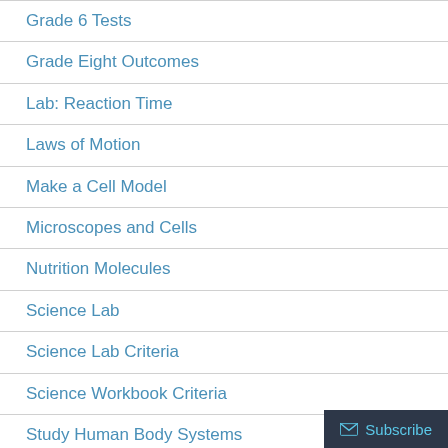Grade 6 Tests
Grade Eight Outcomes
Lab: Reaction Time
Laws of Motion
Make a Cell Model
Microscopes and Cells
Nutrition Molecules
Science Lab
Science Lab Criteria
Science Workbook Criteria
Study Human Body Systems